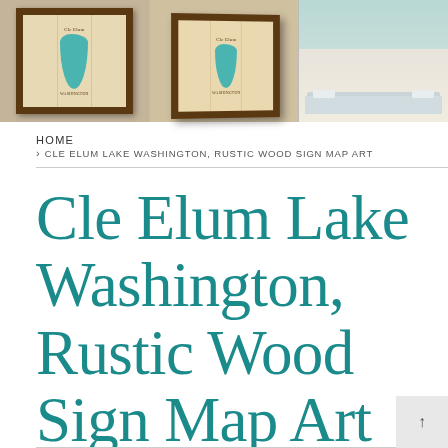[Figure (photo): Three product images: two framed rustic wood map art prints of Cle Elum Lake and a bedroom lifestyle photo]
HOME
> CLE ELUM LAKE WASHINGTON, RUSTIC WOOD SIGN MAP ART
Cle Elum Lake Washington, Rustic Wood Sign Map Art